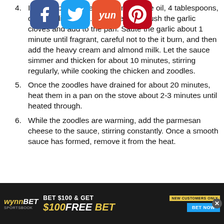pan and heat remaining olive oil, 4 tablespoons, over medium heat. Once heated, crush the garlic cloves and add to the pan. Sauté the garlic about 1 minute until fragrant, careful not to the it burn, and then add the heavy cream and almond milk. Let the sauce simmer and thicken for about 10 minutes, stirring regularly, while cooking the chicken and zoodles.
Once the zoodles have drained for about 20 minutes, heat them in a pan on the stove about 2-3 minutes until heated through.
While the zoodles are warming, add the parmesan cheese to the sauce, stirring constantly. Once a smooth sauce has formed, remove it from the heat.
[Figure (other): Social media sharing icons: Facebook, Twitter, Yummly, Pinterest]
[Figure (other): WynnBET advertisement banner: BET $100 & GET $100 FREE BET, NEW CUSTOMERS ONLY, BET NOW button]